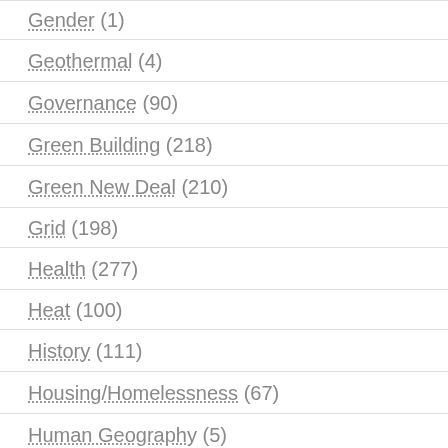Gender (1)
Geothermal (4)
Governance (90)
Green Building (218)
Green New Deal (210)
Grid (198)
Health (277)
Heat (100)
History (111)
Housing/Homelessness (67)
Human Geography (5)
Hydroelectric (1)